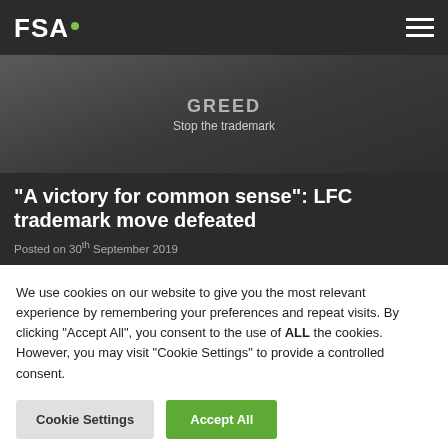FSA.
[Figure (photo): Protest photo showing a sign with 'Stop the trademark' text on a dark background with people standing]
“A victory for common sense”: LFC trademark move defeated
Posted on 30th September 2019
We use cookies on our website to give you the most relevant experience by remembering your preferences and repeat visits. By clicking “Accept All”, you consent to the use of ALL the cookies. However, you may visit "Cookie Settings" to provide a controlled consent.